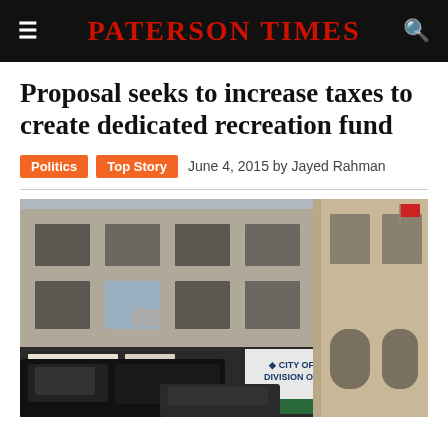PATERSON TIMES
Proposal seeks to increase taxes to create dedicated recreation fund
Politics   Top Story   June 4, 2015 by Jayed Rahman
[Figure (photo): Exterior photo of City of Paterson Division of Recreation building, with a black van parked in front and brick buildings visible.]